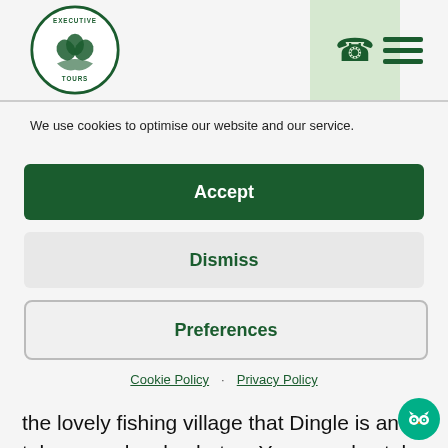[Figure (logo): Executive Tours circular logo with shamrock and eagle motif in green]
[Figure (other): Phone handset icon in green on light green background]
[Figure (other): Hamburger menu icon three horizontal lines in dark green]
We use cookies to optimise our website and our service.
Accept
Dismiss
Preferences
Cookie Policy · Privacy Policy
the lovely fishing village that Dingle is and take some lovely photos. You can also take a boat journey to see Fungi the dolphin who has been a
[Figure (logo): TripAdvisor owl icon in white on teal/green circular background]